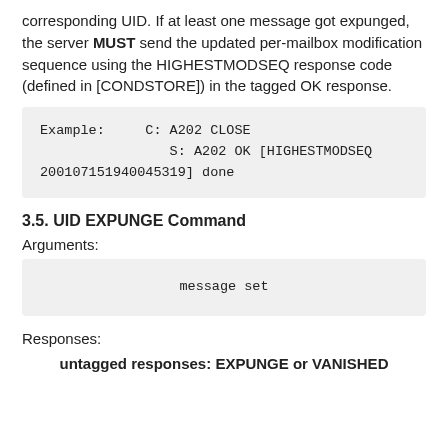corresponding UID. If at least one message got expunged, the server MUST send the updated per-mailbox modification sequence using the HIGHESTMODSEQ response code (defined in [CONDSTORE]) in the tagged OK response.
Example:    C: A202 CLOSE
            S: A202 OK [HIGHESTMODSEQ 200107151940045319] done
3.5. UID EXPUNGE Command
Arguments:
message set
Responses:
untagged responses: EXPUNGE or VANISHED